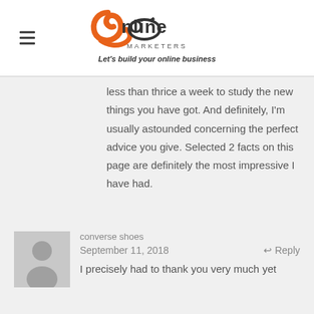[Figure (logo): JK Online Marketers logo with tagline 'Let's build your online business']
less than thrice a week to study the new things you have got. And definitely, I'm usually astounded concerning the perfect advice you give. Selected 2 facts on this page are definitely the most impressive I have had.
converse shoes
September 11, 2018
Reply
I precisely had to thank you very much yet